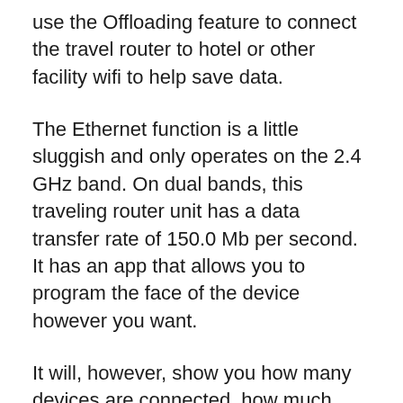use the Offloading feature to connect the travel router to hotel or other facility wifi to help save data.
The Ethernet function is a little sluggish and only operates on the 2.4 GHz band. On dual bands, this traveling router unit has a data transfer rate of 150.0 Mb per second. It has an app that allows you to program the face of the device however you want.
It will, however, show you how many devices are connected, how much data is being used, the unit's battery level, and its network password at a glance. Despite its relatively large dimensions, this dual-band travel router weighs only 8.5